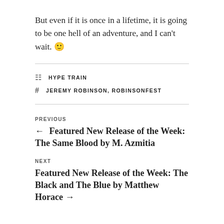But even if it is once in a lifetime, it is going to be one hell of an adventure, and I can't wait. 🙂
CATEGORIES: HYPE TRAIN
TAGS: JEREMY ROBINSON, ROBINSONFEST
PREVIOUS
← Featured New Release of the Week: The Same Blood by M. Azmitia
NEXT
Featured New Release of the Week: The Black and The Blue by Matthew Horace →